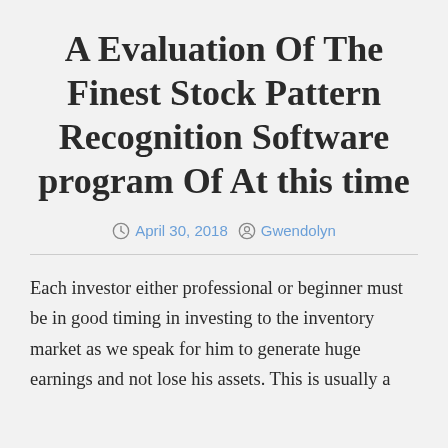A Evaluation Of The Finest Stock Pattern Recognition Software program Of At this time
April 30, 2018   Gwendolyn
Each investor either professional or beginner must be in good timing in investing to the inventory market as we speak for him to generate huge earnings and not lose his assets. This is usually a